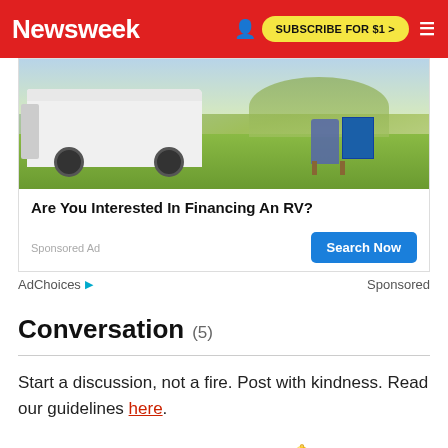Newsweek — SUBSCRIBE FOR $1 >
[Figure (photo): Advertisement showing a white RV motorhome parked in a grassy field with a person sitting in a chair beside it and a solar panel, under a scenic open sky.]
Are You Interested In Financing An RV?
Sponsored Ad — Search Now
AdChoices ▷  Sponsored
Conversation (5)
Start a discussion, not a fire. Post with kindness. Read our guidelines here.
Log in | Sign up